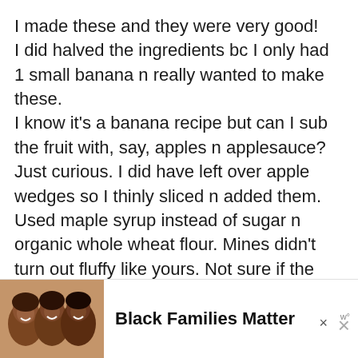I made these and they were very good! I did halved the ingredients bc I only had 1 small banana n really wanted to make these. I know it's a banana recipe but can I sub the fruit with, say, apples n applesauce? Just curious. I did have left over apple wedges so I thinly sliced n added them. Used maple syrup instead of sugar n organic whole wheat flour. Mines didn't turn out fluffy like yours. Not sure if the apples affect it or the banana being too riped (almost black). But my batched yielded 9 pancakes. I did use an icecream scoop. Any suggestions?
[Figure (photo): Advertisement banner showing three people smiling (Black Families Matter ad) with close buttons and a logo]